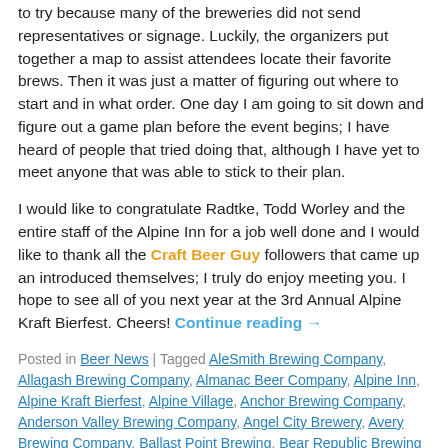to try because many of the breweries did not send representatives or signage. Luckily, the organizers put together a map to assist attendees locate their favorite brews. Then it was just a matter of figuring out where to start and in what order. One day I am going to sit down and figure out a game plan before the event begins; I have heard of people that tried doing that, although I have yet to meet anyone that was able to stick to their plan.
I would like to congratulate Radtke, Todd Worley and the entire staff of the Alpine Inn for a job well done and I would like to thank all the Craft Beer Guy followers that came up an introduced themselves; I truly do enjoy meeting you. I hope to see all of you next year at the 3rd Annual Alpine Kraft Bierfest. Cheers! Continue reading →
Posted in Beer News | Tagged AleSmith Brewing Company, Allagash Brewing Company, Almanac Beer Company, Alpine Inn, Alpine Kraft Bierfest, Alpine Village, Anchor Brewing Company, Anderson Valley Brewing Company, Angel City Brewery, Avery Brewing Company, Ballast Point Brewing, Bear Republic Brewing Company, Beer festival, Bootlegger's Brewery, Brash Brewing Company, BrewDog, Brewery Ommegang, Chimay Brewery, Coronado Brewing Company, craft beers, craft brewer, Deschutes Brewery, Dogfish Head, Eagle Rock Brewing, Eel River Brewing